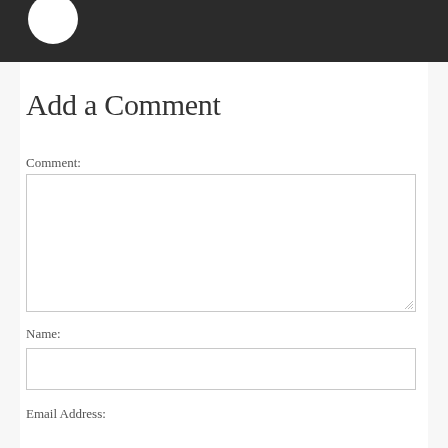Add a Comment
Comment:
Name:
Email Address: